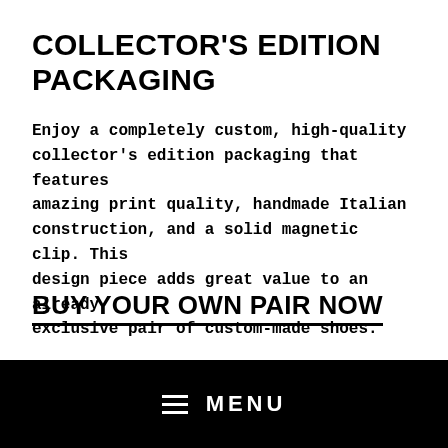COLLECTOR'S EDITION PACKAGING
Enjoy a completely custom, high-quality collector’s edition packaging that features amazing print quality, handmade Italian construction, and a solid magnetic clip. This design piece adds great value to an already exclusive pair of custom-made shoes.
BUY YOUR OWN PAIR NOW
MENU